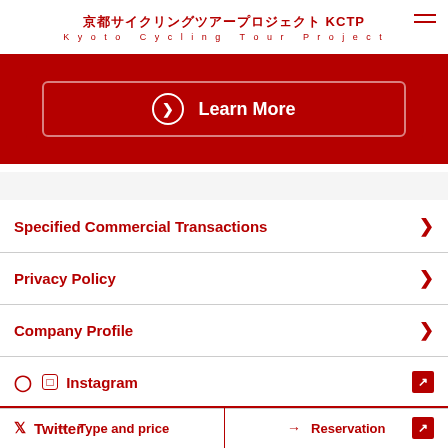京都サイクリングツアープロジェクト KCTP
Kyoto Cycling Tour Project
[Figure (screenshot): Red banner with Learn More button]
Specified Commercial Transactions
Privacy Policy
Company Profile
Instagram
Twitter
→ Type and price   → Reservation